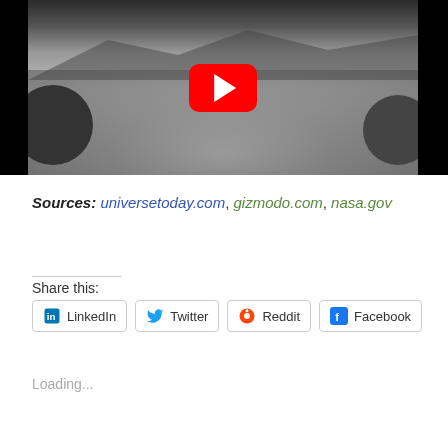[Figure (screenshot): YouTube video thumbnail showing Mars landscape in black and white with YouTube play button overlay, black bars on left and right sides]
Sources: universetoday.com, gizmodo.com, nasa.gov
Share this:
LinkedIn  Twitter  Reddit  Facebook
Loading...